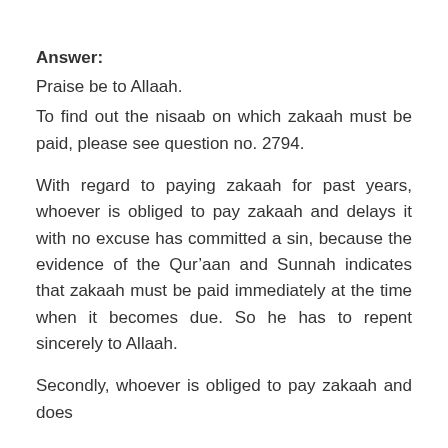Answer:
Praise be to Allaah.
To find out the nisaab on which zakaah must be paid, please see question no. 2794.
With regard to paying zakaah for past years, whoever is obliged to pay zakaah and delays it with no excuse has committed a sin, because the evidence of the Qur’aan and Sunnah indicates that zakaah must be paid immediately at the time when it becomes due. So he has to repent sincerely to Allaah.
Secondly, whoever is obliged to pay zakaah and does